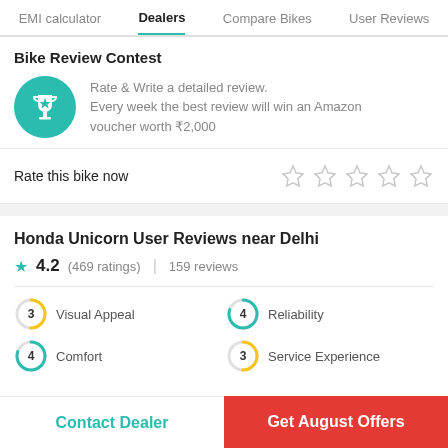EMI calculator | Dealers | Compare Bikes | User Reviews
Bike Review Contest
Rate & Write a detailed review. Every week the best review will win an Amazon voucher worth ₹2,000
Rate this bike now
Honda Unicorn User Reviews near Delhi
4.2 (469 ratings) | 159 reviews
3 Visual Appeal
4 Reliability
4 Comfort
3 Service Experience
Contact Dealer | Get August Offers